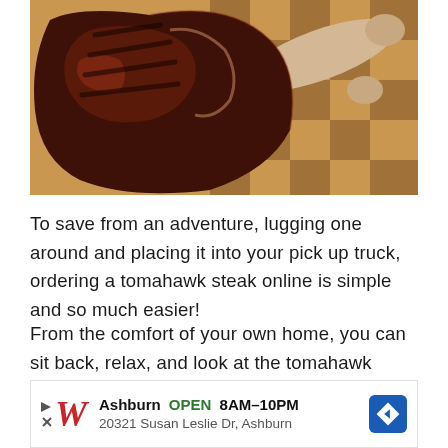[Figure (photo): A grilled tomahawk steak with long bone resting on a wooden end-grain cutting board with checkered pattern]
To save from an adventure, lugging one around and placing it into your pick up truck, ordering a tomahawk steak online is simple and so much easier!
From the comfort of your own home, you can sit back, relax, and look at the tomahawk temptations from a variety of online outlets, and choose the one that you want.
Delivered right to your door, on the day of your grill...
[Figure (advertisement): Walgreens ad bar: Ashburn OPEN 8AM-10PM, 20321 Susan Leslie Dr, Ashburn]